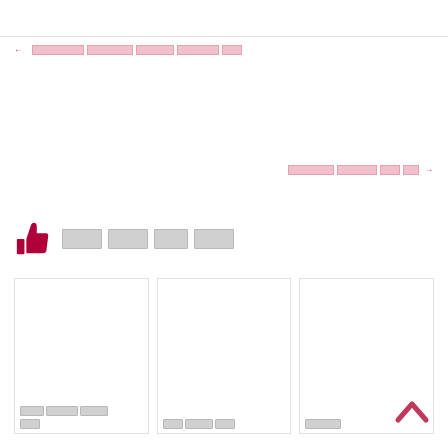[redacted header bar]
← [redacted navigation previous link]
[redacted navigation next link] →
👍 [redacted section title]
[Figure (other): Three card thumbnails with redacted content and redacted captions below]
[redacted card 1 caption]
[redacted card 2 caption]
[redacted card 3 caption]